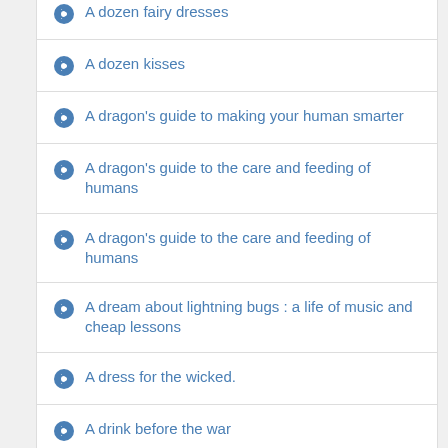A dozen fairy dresses
A dozen kisses
A dragon's guide to making your human smarter
A dragon's guide to the care and feeding of humans
A dragon's guide to the care and feeding of humans
A dream about lightning bugs : a life of music and cheap lessons
A dress for the wicked.
A drink before the war
A drinking life
A drop of hope
A drop of the hard stuff : a Matthew Scudder novel